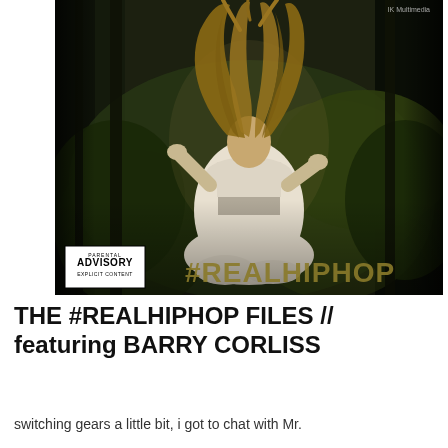[Figure (photo): Album cover art for #REALHIPHOP showing a woman in a white dress floating/levitating in a dark forest with her hair wildly flowing upward. Bottom left has a Parental Advisory Explicit Content warning sticker. Bottom center-right shows the title '#REALHIPHOP' in gold/olive grunge lettering. Top right corner shows 'IK Multimedia' text.]
THE #REALHIPHOP FILES // featuring BARRY CORLISS
switching gears a little bit, i got to chat with Mr.